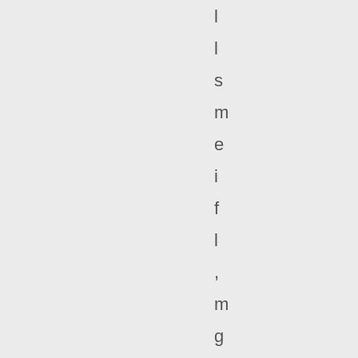l l s m e i f l , m g o i n g t